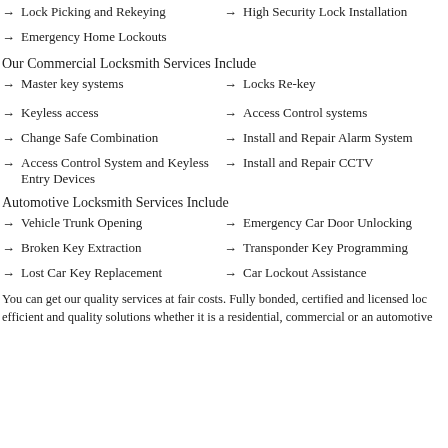Lock Picking and Rekeying
High Security Lock Installation
Emergency Home Lockouts
Our Commercial Locksmith Services Include
Master key systems
Locks Re-key
Keyless access
Access Control systems
Change Safe Combination
Install and Repair Alarm System
Access Control System and Keyless Entry Devices
Install and Repair CCTV
Automotive Locksmith Services Include
Vehicle Trunk Opening
Emergency Car Door Unlocking
Broken Key Extraction
Transponder Key Programming
Lost Car Key Replacement
Car Lockout Assistance
You can get our quality services at fair costs. Fully bonded, certified and licensed loc efficient and quality solutions whether it is a residential, commercial or an automotive